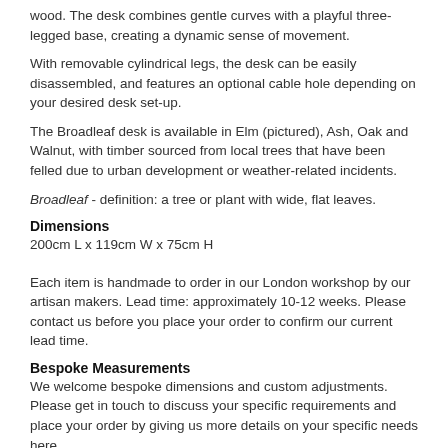wood. The desk combines gentle curves with a playful three-legged base, creating a dynamic sense of movement.
With removable cylindrical legs, the desk can be easily disassembled, and features an optional cable hole depending on your desired desk set-up.
The Broadleaf desk is available in Elm (pictured), Ash, Oak and Walnut, with timber sourced from local trees that have been felled due to urban development or weather-related incidents.
Broadleaf - definition: a tree or plant with wide, flat leaves.
Dimensions
200cm L x 119cm W x 75cm H
Each item is handmade to order in our London workshop by our artisan makers. Lead time: approximately 10-12 weeks. Please contact us before you place your order to confirm our current lead time.
Bespoke Measurements
We welcome bespoke dimensions and custom adjustments. Please get in touch to discuss your specific requirements and place your order by giving us more details on your specific needs here.